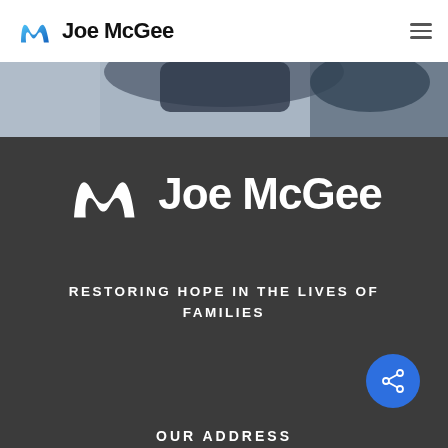Joe McGee
[Figure (photo): Partial photo showing a person lying on a light surface, cropped at the top]
[Figure (logo): Joe McGee logo with stylized M icon in white on dark background]
RESTORING HOPE IN THE LIVES OF FAMILIES
OUR ADDRESS